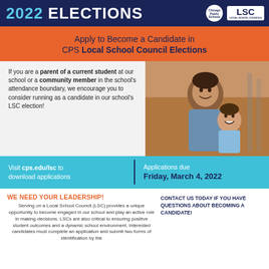2022 ELECTIONS — Chicago Public Schools LSC Local School Councils
Apply to Become a Candidate in CPS Local School Council Elections
If you are a parent of a current student at our school or a community member in the school's attendance boundary, we encourage you to consider running as a candidate in our school's LSC election!
[Figure (photo): Photo of a smiling woman and a young child laughing together]
Visit cps.edu/lsc to download applications
Applications due Friday, March 4, 2022
WE NEED YOUR LEADERSHIP!
Serving on a Local School Council (LSC) provides a unique opportunity to become engaged in our school and play an active role in making decisions. LSCs are also critical to ensuring positive student outcomes and a dynamic school environment. Interested candidates must complete an application and submit two forms of identification by the
CONTACT US TODAY IF YOU HAVE QUESTIONS ABOUT BECOMING A CANDIDATE!